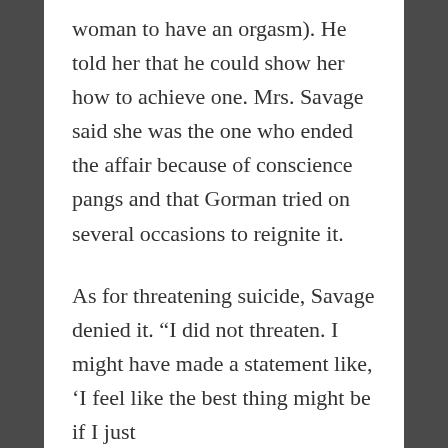woman to have an orgasm). He told her that he could show her how to achieve one. Mrs. Savage said she was the one who ended the affair because of conscience pangs and that Gorman tried on several occasions to reignite it.
As for threatening suicide, Savage denied it. “I did not threaten. I might have made a statement like, ‘I feel like the best thing might be if I just